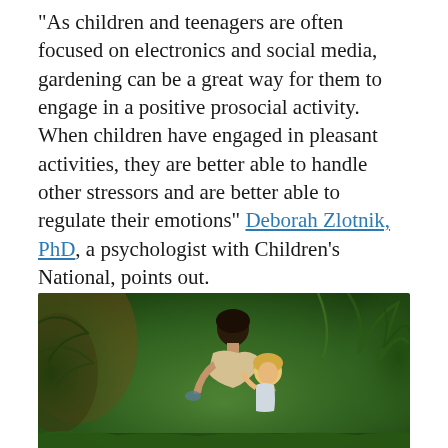“As children and teenagers are often focused on electronics and social media, gardening can be a great way for them to engage in a positive prosocial activity. When children have engaged in pleasant activities, they are better able to handle other stressors and are better able to regulate their emotions” Deborah Zlotnik, PhD, a psychologist with Children’s National, points out.
[Figure (photo): A woman bending down toward a young blonde child in a lush green garden setting]